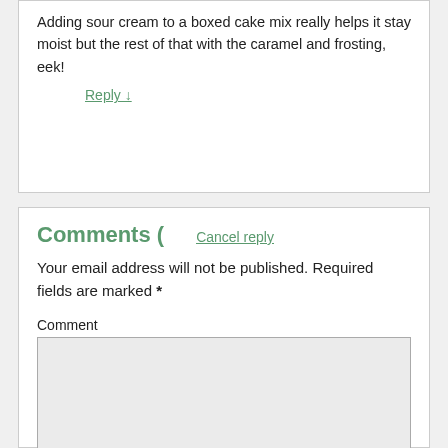Adding sour cream to a boxed cake mix really helps it stay moist but the rest of that with the caramel and frosting, eek!
Reply ↓
Comments (
Cancel reply
Your email address will not be published. Required fields are marked *
Comment
Name *